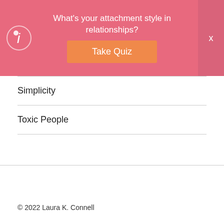[Figure (other): Pink banner with logo, quiz prompt text 'What's your attachment style in relationships?', an orange 'Take Quiz' button, and a close X button on the right.]
Simplicity
Toxic People
© 2022 Laura K. Connell